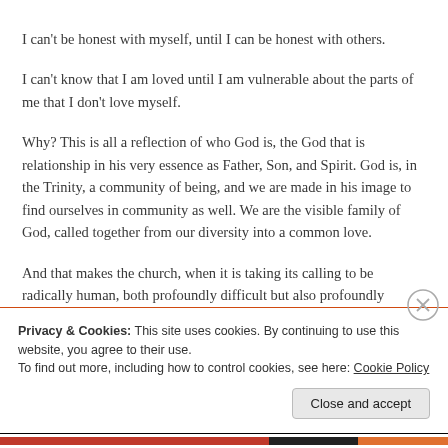I can't be honest with myself, until I can be honest with others.
I can't know that I am loved until I am vulnerable about the parts of me that I don't love myself.
Why? This is all a reflection of who God is, the God that is relationship in his very essence as Father, Son, and Spirit. God is, in the Trinity, a community of being, and we are made in his image to find ourselves in community as well. We are the visible family of God, called together from our diversity into a common love.
And that makes the church, when it is taking its calling to be radically human, both profoundly difficult but also profoundly beautiful.
Privacy & Cookies: This site uses cookies. By continuing to use this website, you agree to their use.
To find out more, including how to control cookies, see here: Cookie Policy
Close and accept